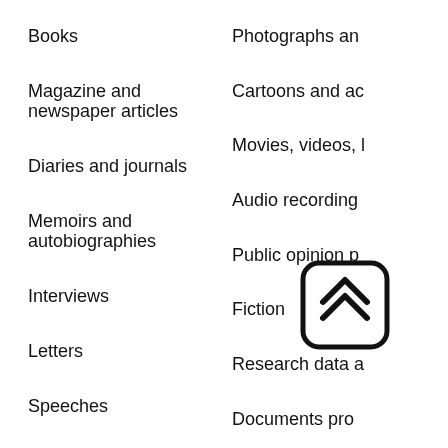Books
Photographs an
Magazine and newspaper articles
Cartoons and ac
Diaries and journals
Movies, videos, l
Memoirs and autobiographies
Audio recording
Interviews
Public opinion p
Letters
Fiction
Speeches
Research data a
Documents produced by organizations
Documents pro agencies, includ hearings and ce
Finding Background Information
Gather the information you have about your topic and consider what you still need to know before you start researching. You can use this